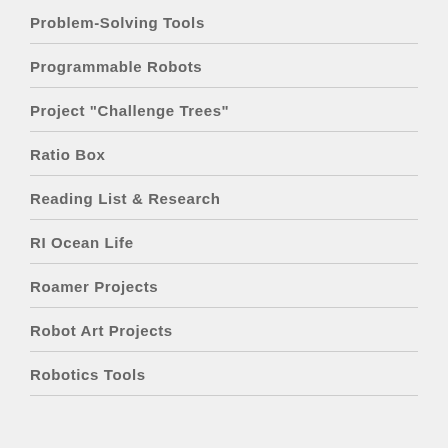Problem-Solving Tools
Programmable Robots
Project "Challenge Trees"
Ratio Box
Reading List & Research
RI Ocean Life
Roamer Projects
Robot Art Projects
Robotics Tools